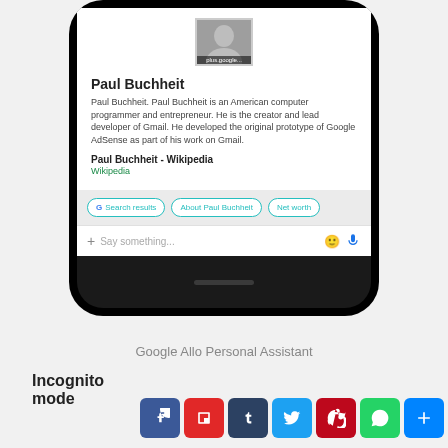[Figure (screenshot): Screenshot of a Google Allo personal assistant screen showing a card about Paul Buchheit with his photo, description, Wikipedia link, suggestion buttons (Search results, About Paul Buchheit, Net worth), and a Say something input bar with a microphone icon.]
Google Allo Personal Assistant
[Figure (infographic): Social share buttons row: Facebook, Flipboard, Tumblr, Twitter, Pinterest, WhatsApp, More (+)]
Incognito mode